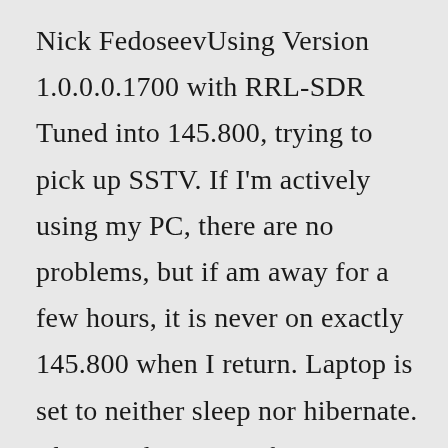Nick FedoseevUsing Version 1.0.0.0.1700 with RRL-SDR Tuned into 145.800, trying to pick up SSTV. If I'm actively using my PC, there are no problems, but if am away for a few hours, it is never on exactly 145.800 when I return. Laptop is set to neither sleep nor hibernate. The "Lock Carrier" feature isn't...80m - 3.730 USB Analog SSTV, sometimes LSB 80m - 3.733 USB, Digital SSTV 40m - 7.171 USB